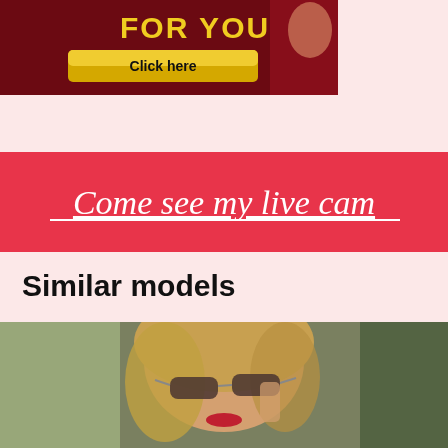[Figure (photo): Advertisement banner with dark red background showing 'FOR YOU' text in yellow and a 'Click here' golden button, with a woman in pink on the right side]
[Figure (infographic): Red banner with italic white underlined text: Come see my live cam]
Similar models
[Figure (photo): Photo of a blonde woman wearing cat-eye sunglasses, red lipstick, and floral earrings, looking toward the camera outdoors]